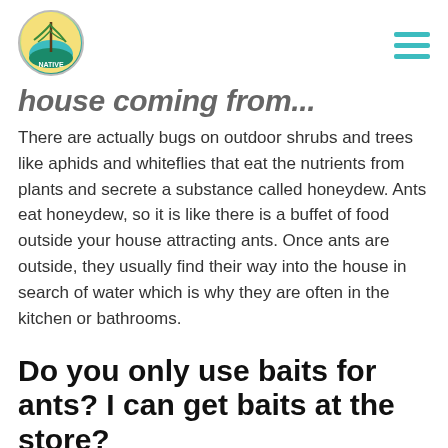Native [logo]
house coming from...
There are actually bugs on outdoor shrubs and trees like aphids and whiteflies that eat the nutrients from plants and secrete a substance called honeydew. Ants eat honeydew, so it is like there is a buffet of food outside your house attracting ants. Once ants are outside, they usually find their way into the house in search of water which is why they are often in the kitchen or bathrooms.
Do you only use baits for ants? I can get baits at the store?